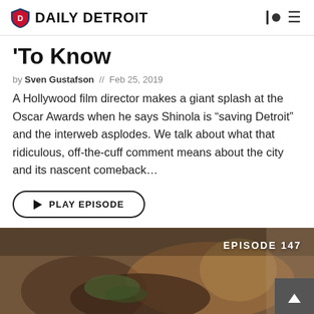DAILY DETROIT
To Know
by Sven Gustafson // Feb 25, 2019
A Hollywood film director makes a giant splash at the Oscar Awards when he says Shinola is “saving Detroit” and the interweb asplodes. We talk about what that ridiculous, off-the-cuff comment means about the city and its nascent comeback…
PLAY EPISODE
[Figure (photo): Food photo showing a dish with text overlay reading EPISODE 147 in upper right corner]